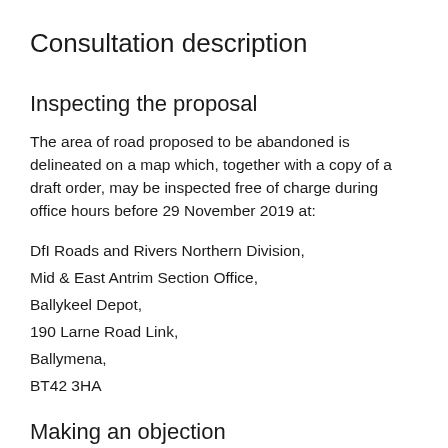Consultation description
Inspecting the proposal
The area of road proposed to be abandoned is delineated on a map which, together with a copy of a draft order, may be inspected free of charge during office hours before 29 November 2019 at:
DfI Roads and Rivers Northern Division,
Mid & East Antrim Section Office,
Ballykeel Depot,
190 Larne Road Link,
Ballymena,
BT42 3HA
Making an objection